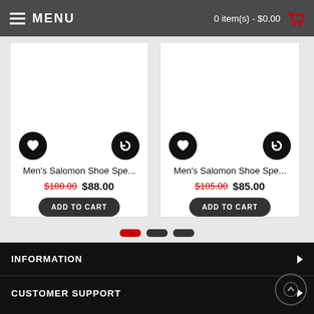MENU | 0 item(s) - $0.00
Men's Salomon Shoe Spe... $188.00 $88.00
Men's Salomon Shoe Spe... $185.00 $85.00
INFORMATION
CUSTOMER SUPPORT